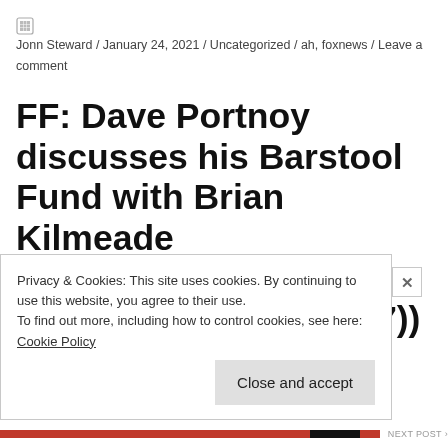Jonn Steward / January 24, 2021 / Uncategorized / ah, foxnews / Leave a comment
FF: Dave Portnoy discusses his Barstool Fund with Brian Kilmeade ((foxandfriends____)) ((lubuntu at wor3 89S7))
Privacy & Cookies: This site uses cookies. By continuing to use this website, you agree to their use.
To find out more, including how to control cookies, see here:
Cookie Policy
Close and accept